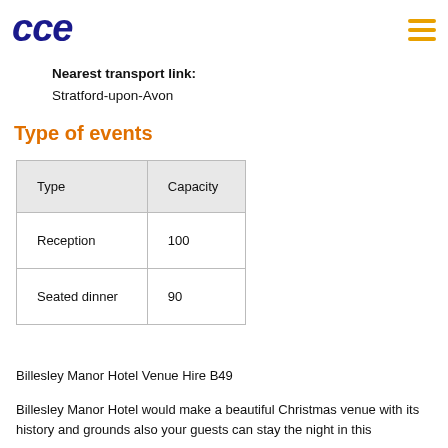cce
Nearest transport link: Stratford-upon-Avon
Type of events
| Type | Capacity |
| --- | --- |
| Reception | 100 |
| Seated dinner | 90 |
Billesley Manor Hotel Venue Hire B49
Billesley Manor Hotel would make a beautiful Christmas venue with its history and grounds also your guests can stay the night in this